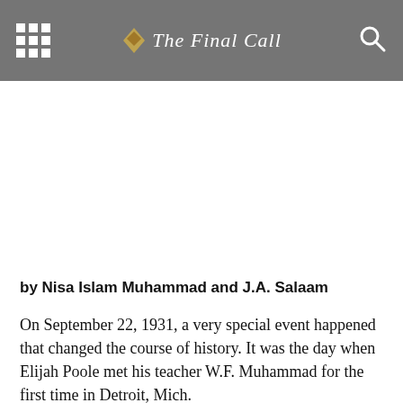The Final Call
by Nisa Islam Muhammad and J.A. Salaam
On September 22, 1931, a very special event happened that changed the course of history. It was the day when Elijah Poole met his teacher W.F. Muhammad for the first time in Detroit, Mich.
Their meeting was a match made in heaven. Master Fard Muhammad taught Elijah day and night for three years and four